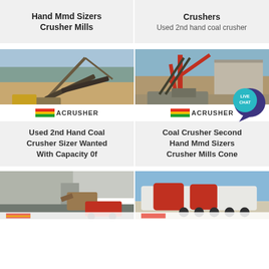Hand Mmd Sizers Crusher Mills
Crushers
Used 2nd hand coal crusher
[Figure (photo): Industrial mining/crushing site with crane and conveyor belts, ACRUSHER logo at bottom]
[Figure (photo): Industrial crushing/screening plant with conveyors and red steel structure, ACRUSHER logo at bottom, live chat bubble overlay]
Used 2nd Hand Coal Crusher Sizer Wanted With Capacity 0f
Coal Crusher Second Hand Mmd Sizers Crusher Mills Cone
[Figure (photo): Quarry or mining site with excavator and mobile crusher unit, ACRUSHER logo partial]
[Figure (photo): Mobile crushing plant on trailer/truck, red and white machine, ACRUSHER logo partial]